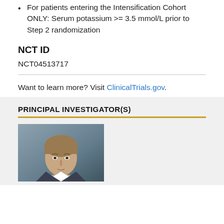For patients entering the Intensification Cohort ONLY: Serum potassium >= 3.5 mmol/L prior to Step 2 randomization
NCT ID
NCT04513717
Want to learn more? Visit ClinicalTrials.gov.
PRINCIPAL INVESTIGATOR(S)
[Figure (photo): Headshot photo of a man with light brown hair wearing a suit, photographed against a dark blue-gray background]